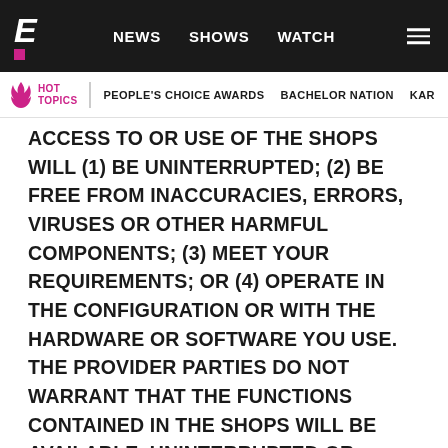E! NEWS | SHOWS | WATCH
HOT TOPICS | PEOPLE'S CHOICE AWARDS | BACHELOR NATION | KAR...
ACCESS TO OR USE OF THE SHOPS WILL (1) BE UNINTERRUPTED; (2) BE FREE FROM INACCURACIES, ERRORS, VIRUSES OR OTHER HARMFUL COMPONENTS; (3) MEET YOUR REQUIREMENTS; OR (4) OPERATE IN THE CONFIGURATION OR WITH THE HARDWARE OR SOFTWARE YOU USE. THE PROVIDER PARTIES DO NOT WARRANT THAT THE FUNCTIONS CONTAINED IN THE SHOPS WILL BE AVAILABLE, UNINTERRUPTED OR ERROR-FREE, THAT DEFECTS WILL BE CORRECTED, OR THAT THE SHOPS OR THE